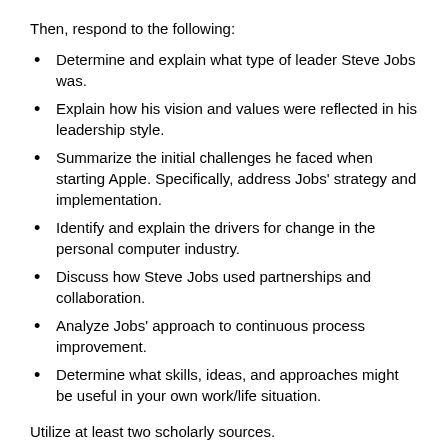Then, respond to the following:
Determine and explain what type of leader Steve Jobs was.
Explain how his vision and values were reflected in his leadership style.
Summarize the initial challenges he faced when starting Apple. Specifically, address Jobs' strategy and implementation.
Identify and explain the drivers for change in the personal computer industry.
Discuss how Steve Jobs used partnerships and collaboration.
Analyze Jobs' approach to continuous process improvement.
Determine what skills, ideas, and approaches might be useful in your own work/life situation.
Utilize at least two scholarly sources.
Write a 3–5-page report in Word format. Apply APA standards to the citation of sources. Use the following file naming convention: LastnameFirstInitial_M1_A3.doc. For example, if your name is John Smith, your document will be named SmithJ_M1_A3.doc.